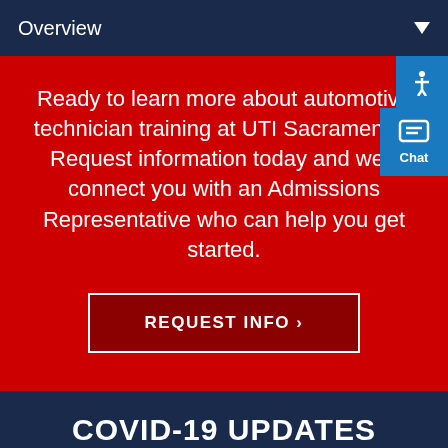Overview
Ready to learn more about automotive technician training at UTI Sacramento? Request information today and we'll connect you with an Admissions Representative who can help you get started.
REQUEST INFO ›
COVID-19 UPDATES
COVID-19 FAQs